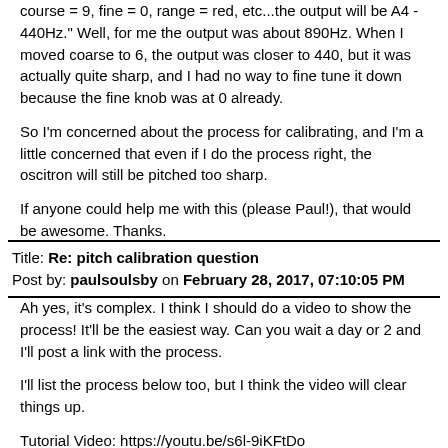course = 9, fine = 0, range = red, etc...the output will be A4 - 440Hz." Well, for me the output was about 890Hz. When I moved coarse to 6, the output was closer to 440, but it was actually quite sharp, and I had no way to fine tune it down because the fine knob was at 0 already.
So I'm concerned about the process for calibrating, and I'm a little concerned that even if I do the process right, the oscitron will still be pitched too sharp.
If anyone could help me with this (please Paul!), that would be awesome. Thanks.
Title: Re: pitch calibration question
Post by: paulsoulsby on February 28, 2017, 07:10:05 PM
Ah yes, it's complex.  I think I should do a video to show the process!  It'll be the easiest way.  Can you wait a day or 2 and I'll post a link with the process.
I'll list the process below too, but I think the video will clear things up.
Tutorial Video: https://youtu.be/s6l-9iKFtDo (https://youtu.be/s6l-9iKFtDo)
Tune Freq V/Oct Input
1)  Connect the V/Oct source (e.g. MIDI to CV converter) to Freq 1V/Oct input.